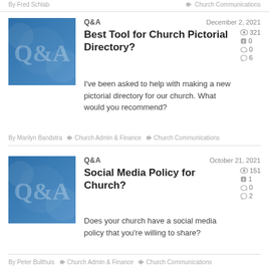By Fred Schlab   Church Communications
[Figure (illustration): Q&A thumbnail image with blue background]
Q&A   December 2, 2021
Best Tool for Church Pictorial Directory?
I've been asked to help with making a new pictorial directory for our church. What would you recommend?
321 views, 0 Facebook, 0 likes, 6 comments
By Marilyn Bandstra   Church Admin & Finance   Church Communications
[Figure (illustration): Q&A thumbnail image with blue background]
Q&A   October 21, 2021
Social Media Policy for Church?
Does your church have a social media policy that you're willing to share?
151 views, 1 Facebook, 0 likes, 2 comments
By Peter Bulthuis   Church Admin & Finance   Church Communications